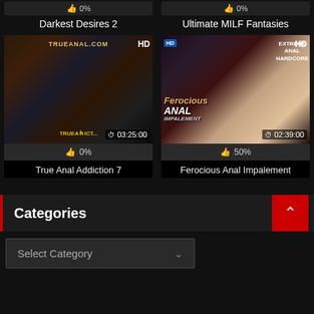👍 0%
Darkest Desires 2
👍 0%
Ultimate MILF Fantasies
[Figure (photo): Movie cover for True Anal Addiction 7 with HD badge and duration 03:25:00]
👍 0%
True Anal Addiction 7
[Figure (photo): Movie cover for Ferocious Anal Impalement with HD badge and duration 02:39:00]
👍 50%
Ferocious Anal Impalement
Categories
Select Category